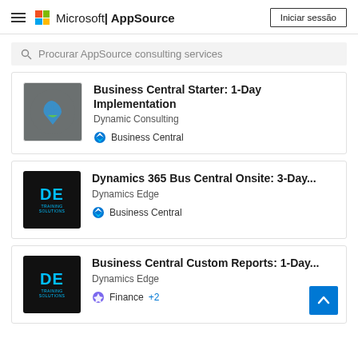Microsoft | AppSource   Iniciar sessão
Procurar AppSource consulting services
[Figure (screenshot): Card listing: Business Central Starter: 1-Day Implementation by Dynamic Consulting, tagged Business Central]
[Figure (screenshot): Card listing: Dynamics 365 Bus Central Onsite: 3-Day... by Dynamics Edge, tagged Business Central]
[Figure (screenshot): Card listing: Business Central Custom Reports: 1-Day... by Dynamics Edge, tagged Finance +2, with blue scroll-up button]